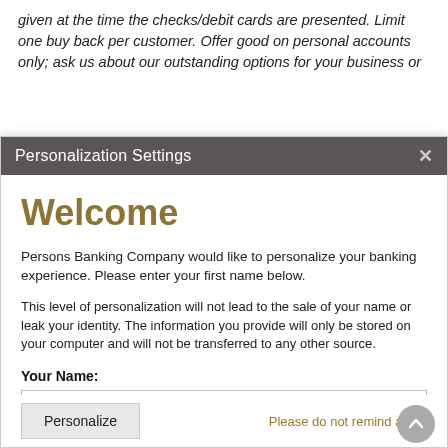given at the time the checks/debit cards are presented. Limit one buy back per customer.  Offer good on personal accounts only; ask us about our outstanding options for your business or
Personalization Settings
Welcome
Persons Banking Company would like to personalize your banking experience. Please enter your first name below.
This level of personalization will not lead to the sale of your name or leak your identity. The information you provide will only be stored on your computer and will not be transferred to any other source.
Your Name:
Personalize
Please do not remind again